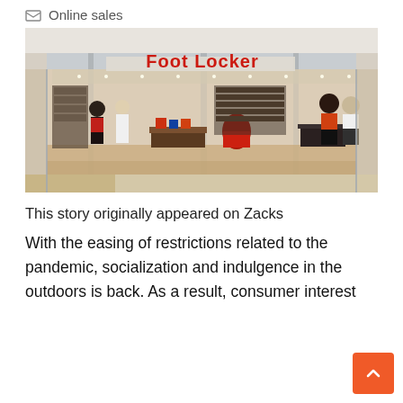Online sales
[Figure (photo): Foot Locker store front inside a shopping mall. The store has a large red 'Foot Locker' sign above the entrance, with mannequins and merchandise visible inside.]
This story originally appeared on Zacks
With the easing of restrictions related to the pandemic, socialization and indulgence in the outdoors is back. As a result, consumer interest